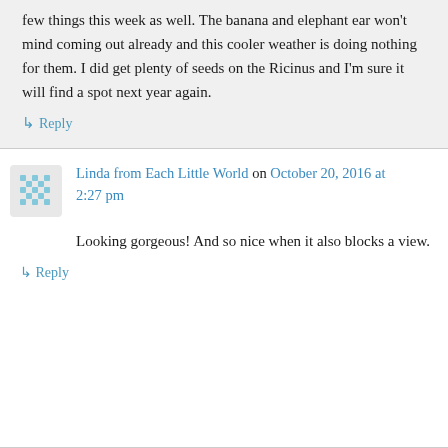few things this week as well. The banana and elephant ear won't mind coming out already and this cooler weather is doing nothing for them. I did get plenty of seeds on the Ricinus and I'm sure it will find a spot next year again.
↳ Reply
Linda from Each Little World on October 20, 2016 at 2:27 pm
Looking gorgeous! And so nice when it also blocks a view.
↳ Reply